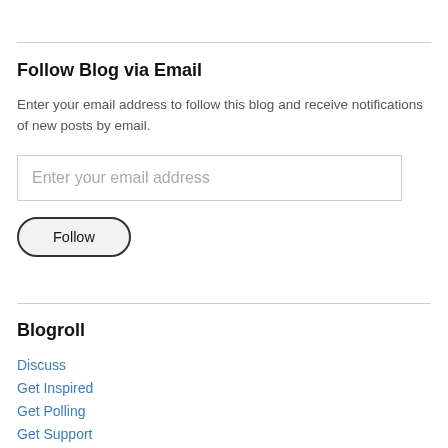Follow Blog via Email
Enter your email address to follow this blog and receive notifications of new posts by email.
Enter your email address
Follow
Blogroll
Discuss
Get Inspired
Get Polling
Get Support
Learn WordPress.com